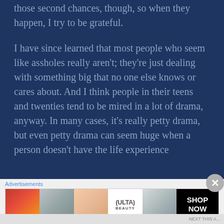those second chances, though, so when they happen, I try to be grateful.
I have since learned that most people who seem like assholes really aren't; they're just dealing with something big that no one else knows or cares about. And I think people in their teens and twenties tend to be mired in a lot of drama, anyway. In many cases, it's really petty drama, but even petty drama can seem huge when a person doesn't have the life experience
Advertisements
[Figure (photo): ULTA beauty advertisement banner showing close-up images of makeup looks including lips, brush, eyes, ULTA logo, and dramatic eye makeup with SHOP NOW call to action]